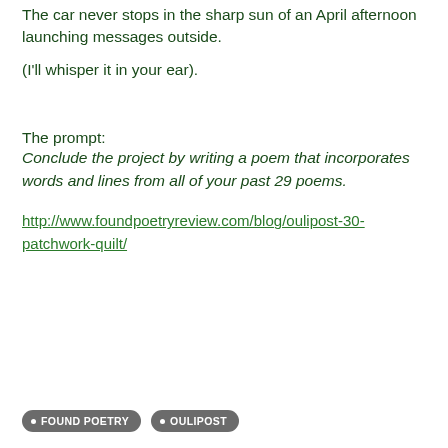The car never stops in the sharp sun of an April afternoon launching messages outside.
(I'll whisper it in your ear).
The prompt:
Conclude the project by writing a poem that incorporates words and lines from all of your past 29 poems.
http://www.foundpoetryreview.com/blog/oulipost-30-patchwork-quilt/
FOUND POETRY   OULIPOST